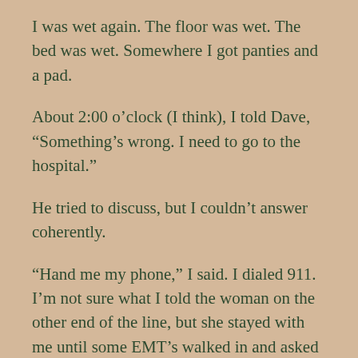I was wet again. The floor was wet. The bed was wet. Somewhere I got panties and a pad.
About 2:00 o’clock (I think), I told Dave, “Something’s wrong. I need to go to the hospital.”
He tried to discuss, but I couldn’t answer coherently.
“Hand me my phone,” I said. I dialed 911. I’m not sure what I told the woman on the other end of the line, but she stayed with me until some EMT’s walked in and asked me if I could get on the gurney.